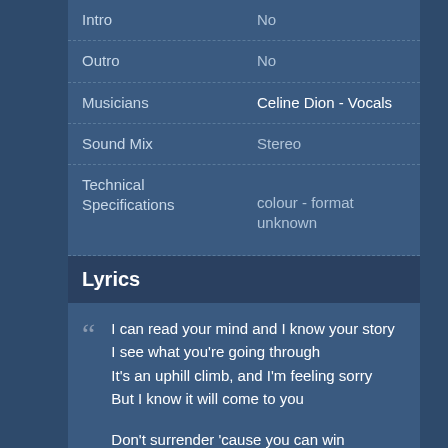| Field | Value |
| --- | --- |
| Intro | No |
| Outro | No |
| Musicians | Celine Dion - Vocals |
| Sound Mix | Stereo |
| Technical Specifications | colour - format unknown |
Lyrics
I can read your mind and I know your story
I see what you're going through
It's an uphill climb, and I'm feeling sorry
But I know it will come to you

Don't surrender 'cause you can win
In this thing called love